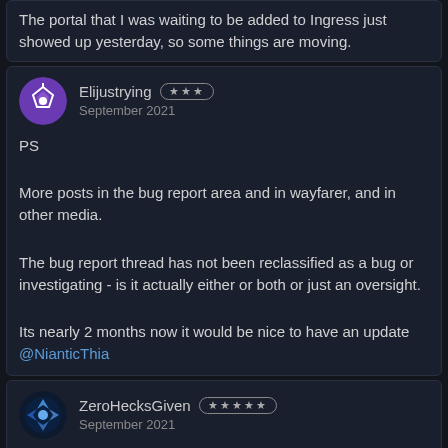The portal that I was waiting to be added to Ingress just showed up yesterday, so some things are moving.
Elijustrying ★★★ September 2021
PS
More posts in the bug report area and in wayfarer, and in other media.
The bug report thread has not been reclassified as a bug or investigating - is it actually either or both or just an oversight.
Its nearly 2 months now it would be nice to have an update @NianticThia
ZeroHecksGiven ★★★★★ September 2021
So we just gonna pretend none of these issues are happening or what? Some folks got frustrated and we get ghosted again? Y'all